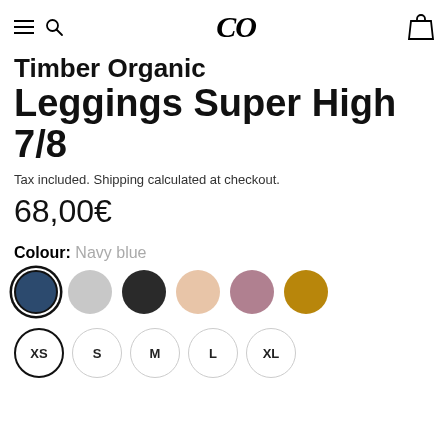CO (logo), hamburger menu, search, cart
Timber Organic Leggings Super High 7/8
Tax included. Shipping calculated at checkout.
68,00€
Colour: Navy blue
[Figure (other): Six circular colour swatches: navy blue (selected), light grey, dark charcoal, peach/nude, dusty rose, golden yellow]
[Figure (other): Five size buttons: XS (selected), S, M, L, XL]